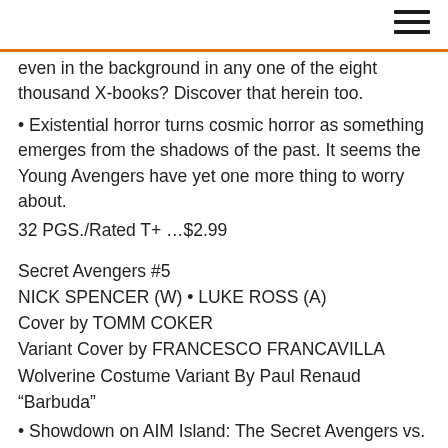even in the background in any one of the eight thousand X-books? Discover that herein too.
• Existential horror turns cosmic horror as something emerges from the shadows of the past. It seems the Young Avengers have yet one more thing to worry about.
32 PGS./Rated T+ …$2.99
Secret Avengers #5
NICK SPENCER (W) • LUKE ROSS (A)
Cover by TOMM COKER
Variant Cover by FRANCESCO FRANCAVILLA
Wolverine Costume Variant By Paul Renaud
“Barbuda”
• Showdown on AIM Island: The Secret Avengers vs. The New High Council of AIM!